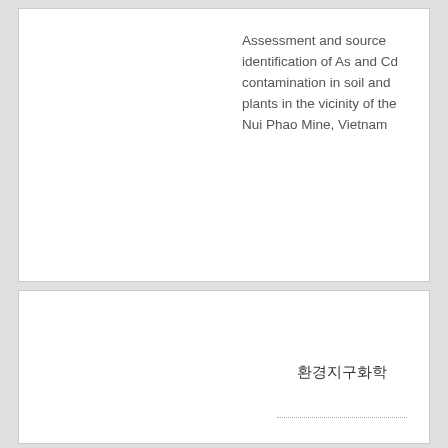Assessment and source identification of As and Cd contamination in soil and plants in the vicinity of the Nui Phao Mine, Vietnam
환경지구화학